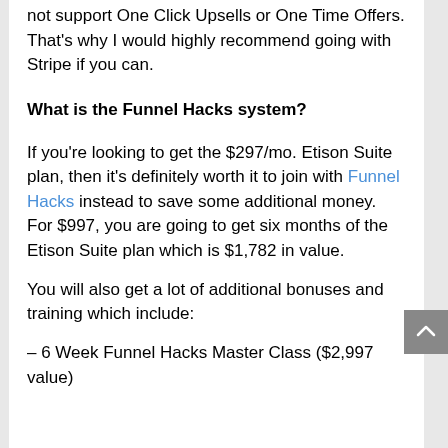not support One Click Upsells or One Time Offers. That's why I would highly recommend going with Stripe if you can.
What is the Funnel Hacks system?
If you're looking to get the $297/mo. Etison Suite plan, then it's definitely worth it to join with Funnel Hacks instead to save some additional money. For $997, you are going to get six months of the Etison Suite plan which is $1,782 in value.
You will also get a lot of additional bonuses and training which include:
– 6 Week Funnel Hacks Master Class ($2,997 value)